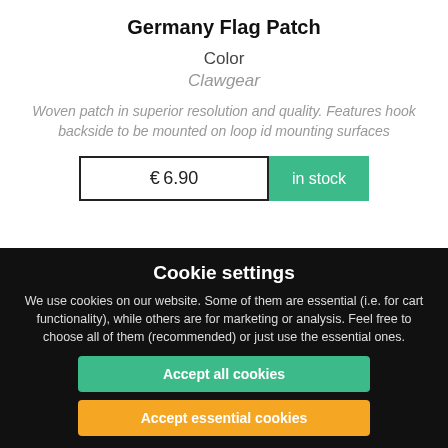Germany Flag Patch
Color
Clawgear
Woven patch in superior resolution and quality. Features hook backside to be mounted on loop id mounting surfaces
€6.90
in stock
Cookie settings
We use cookies on our website. Some of them are essential (i.e. for cart functionality), while others are for marketing or analysis. Feel free to choose all of them (recommended) or just use the essential ones.
Accept all cookies
Accept essential cookies
Refuse cookies